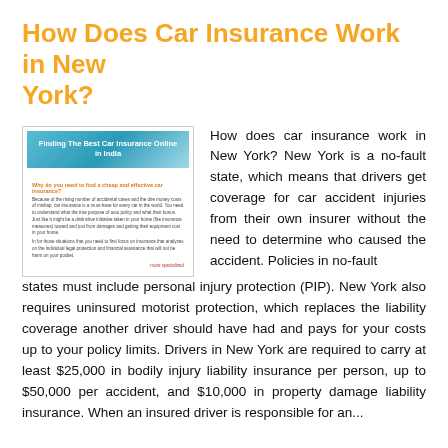How Does Car Insurance Work in New York?
[Figure (screenshot): Screenshot of a webpage titled 'Finding The Best Car Insurance Online in India' with body text and a link.]
How does car insurance work in New York? New York is a no-fault state, which means that drivers get coverage for car accident injuries from their own insurer without the need to determine who caused the accident. Policies in no-fault states must include personal injury protection (PIP). New York also requires uninsured motorist protection, which replaces the liability coverage another driver should have had and pays for your costs up to your policy limits. Drivers in New York are required to carry at least $25,000 in bodily injury liability insurance per person, up to $50,000 per accident, and $10,000 in property damage liability insurance. When an insured driver is responsible for an...